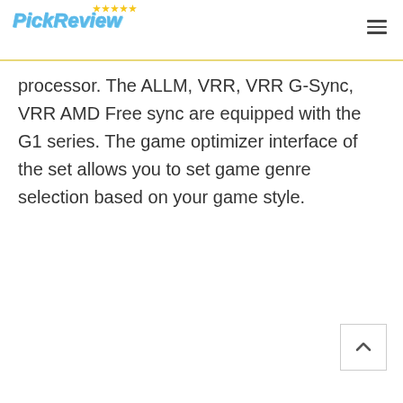PickReview
processor. The ALLM, VRR, VRR G-Sync, VRR AMD Free sync are equipped with the G1 series. The game optimizer interface of the set allows you to set game genre selection based on your game style.